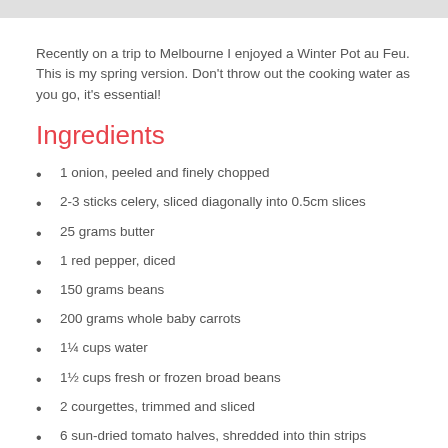Recently on a trip to Melbourne I enjoyed a Winter Pot au Feu. This is my spring version. Don't throw out the cooking water as you go, it's essential!
Ingredients
1 onion, peeled and finely chopped
2-3 sticks celery, sliced diagonally into 0.5cm slices
25 grams butter
1 red pepper, diced
150 grams beans
200 grams whole baby carrots
1¼ cups water
1½ cups fresh or frozen broad beans
2 courgettes, trimmed and sliced
6 sun-dried tomato halves, shredded into thin strips
2 tablespoons flour